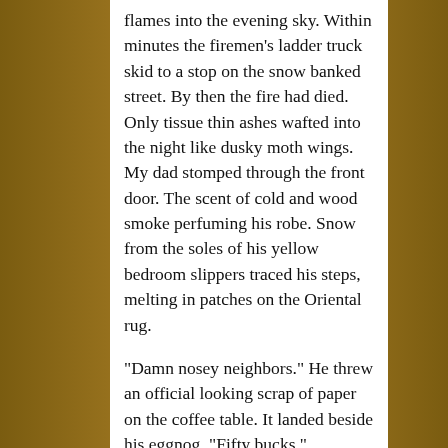flames into the evening sky. Within minutes the firemen's ladder truck skid to a stop on the snow banked street. By then the fire had died. Only tissue thin ashes wafted into the night like dusky moth wings. My dad stomped through the front door. The scent of cold and wood smoke perfuming his robe. Snow from the soles of his yellow bedroom slippers traced his steps, melting in patches on the Oriental rug.
"Damn nosey neighbors." He threw an official looking scrap of paper on the coffee table. It landed beside his eggnog. "Fifty bucks."
The time he...